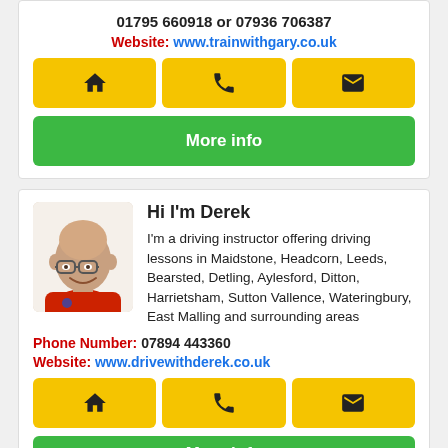01795 660918 or 07936 706387
Website: www.trainwithgary.co.uk
[Figure (infographic): Three yellow icon buttons: home, phone, email]
More info
Hi I'm Derek
I'm a driving instructor offering driving lessons in Maidstone, Headcorn, Leeds, Bearsted, Detling, Aylesford, Ditton, Harrietsham, Sutton Vallence, Wateringbury, East Malling and surrounding areas
Phone Number: 07894 443360
Website: www.drivewithderek.co.uk
[Figure (infographic): Three yellow icon buttons: home, phone, email]
More info